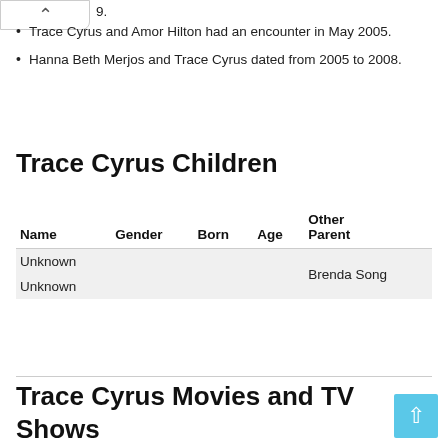Trace Cyrus and Amor Hilton had an encounter in May 2005.
Hanna Beth Merjos and Trace Cyrus dated from 2005 to 2008.
Trace Cyrus Children
| Name | Gender | Born | Age | Other Parent |
| --- | --- | --- | --- | --- |
| Unknown |  |  |  | Brenda Song |
| Unknown |  |  |  |  |
Trace Cyrus Movies and TV Shows